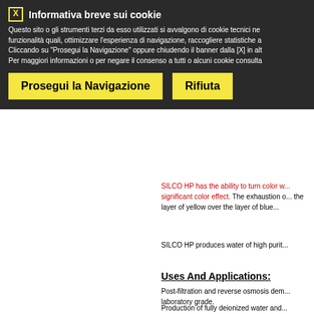[Figure (screenshot): Cookie consent overlay banner with dark background, title 'Informativa breve sui cookie', body text in Italian about cookie usage, and two yellow buttons: 'Prosegui la Navigazione' and 'Rifiuta']
A brand new resin is ready for use in g... changes color to the production of fully...
Designed to provide purity levels never... color and designed for applications w... Applicable values are very... silicates, phosphates, nitrates and all h...
SILCO HP has the ability to turn color w... significant color effect. The exhaustion ... the layer of yellow over the layer of blue...
SILCO HP produces water of high purit...
Uses And Applications:
Post-filtration and reverse osmosis dem... laboratory grade.
Production of fully deionized water and...
Chemical And Physical Charac...
Translucent beads in blue and ye...
Size from 0.4 to 1.3 mm...